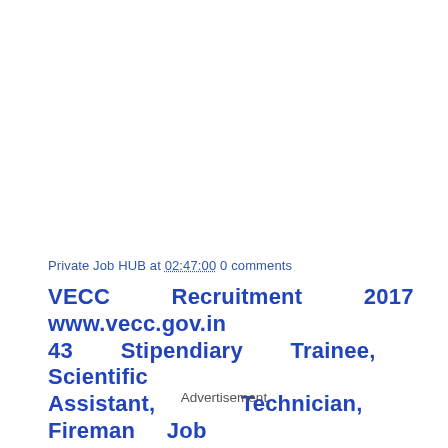Private Job HUB at 02:47:00 0 comments
VECC Recruitment 2017 www.vecc.gov.in 43 Stipendiary Trainee, Scientific Assistant, Technician, Fireman Job Notification
Advertisement